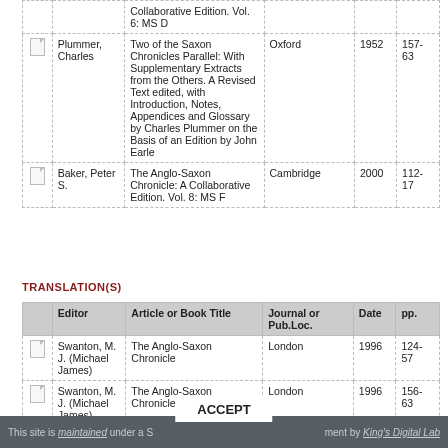|  | Editor | Article or Book Title | Journal or Pub.Loc. | Date | pp. |
| --- | --- | --- | --- | --- | --- |
|  |  | Collaborative Edition. Vol. 6: MS D |  |  |  |
|  | Plummer, Charles | Two of the Saxon Chronicles Parallel: With Supplementary Extracts from the Others. A Revised Text edited, with Introduction, Notes, Appendices and Glossary by Charles Plummer on the Basis of an Edition by John Earle | Oxford | 1952 | 157-63 |
|  | Baker, Peter S. | The Anglo-Saxon Chronicle: A Collaborative Edition. Vol. 8: MS F | Cambridge | 2000 | 112-17 |
TRANSLATION(S)
|  | Editor | Article or Book Title | Journal or Pub.Loc. | Date | pp. |
| --- | --- | --- | --- | --- | --- |
|  | Swanton, M. J. (Michael James) | The Anglo-Saxon Chronicle | London | 1996 | 124-57 |
|  | Swanton, M. J. (Michael James) | The Anglo-Saxon Chronicle | London | 1996 | 156-63 |
This site is maintained under a S...ment by King's Digital Lab